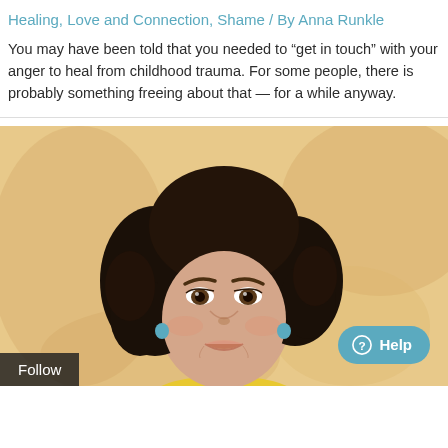Healing, Love and Connection, Shame / By Anna Runkle
You may have been told that you needed to “get in touch” with your anger to heal from childhood trauma. For some people, there is probably something freeing about that — for a while anyway.
[Figure (illustration): Digital illustration of a woman with dark curly hair, wearing teal earrings and a yellow top, with a warm beige/orange background. A 'Follow' button is overlaid in bottom-left and a 'Help' button with circle-question icon is in the bottom-right.]